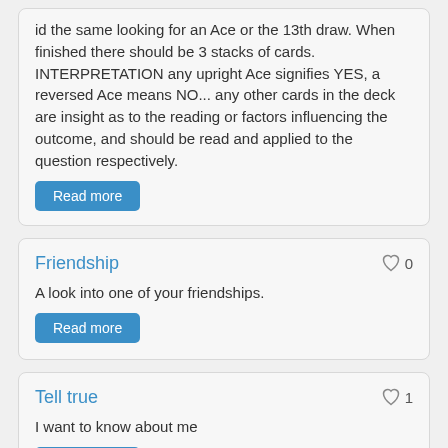id the same looking for an Ace or the 13th draw. When finished there should be 3 stacks of cards. INTERPRETATION any upright Ace signifies YES, a reversed Ace means NO... any other cards in the deck are insight as to the reading or factors influencing the outcome, and should be read and applied to the question respectively.
Read more
Friendship
A look into one of your friendships.
Read more
Tell true
I want to know about me
Read more